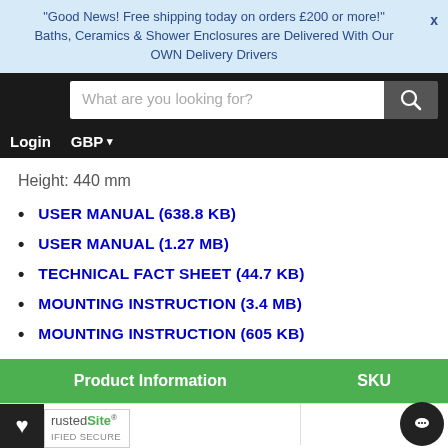"Good News! Free shipping today on orders £200 or more!" X
Baths, Ceramics & Shower Enclosures are Delivered With Our OWN Delivery Drivers
What are you looking for?
Login  GBP ∨
Height: 440 mm
USER MANUAL (638.8 KB)
USER MANUAL (1.27 MB)
TECHNICAL FACT SHEET (44.7 KB)
MOUNTING INSTRUCTION (3.4 MB)
MOUNTING INSTRUCTION (605 KB)
| Product Information | SKU |
| --- | --- |
| rtell Drop-in Solid |  |